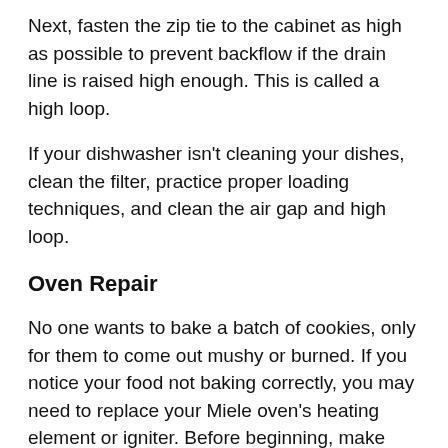Next, fasten the zip tie to the cabinet as high as possible to prevent backflow if the drain line is raised high enough. This is called a high loop.
If your dishwasher isn't cleaning your dishes, clean the filter, practice proper loading techniques, and clean the air gap and high loop.
Oven Repair
No one wants to bake a batch of cookies, only for them to come out mushy or burned. If you notice your food not baking correctly, you may need to replace your Miele oven's heating element or igniter. Before beginning, make sure to shut off the power to the oven. Next, locate the heating element inside the Miele oven. Then, it...